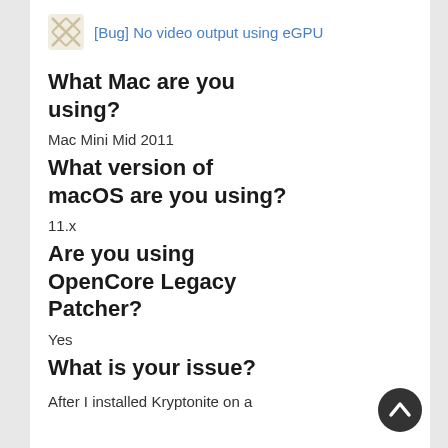[Bug] No video output using eGPU
What Mac are you using?
Mac Mini Mid 2011
What version of macOS are you using?
11.x
Are you using OpenCore Legacy Patcher?
Yes
What is your issue?
After I installed Kryptonite on a